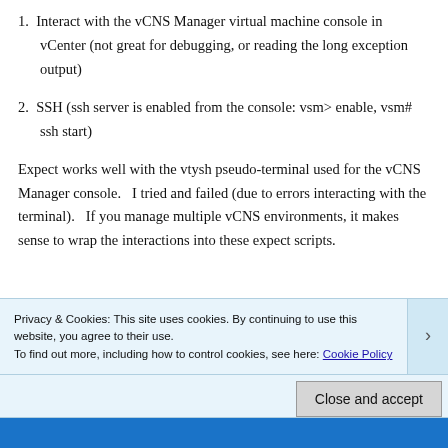1.  Interact with the vCNS Manager virtual machine console in vCenter (not great for debugging, or reading the long exception output)
2.  SSH (ssh server is enabled from the console: vsm> enable, vsm# ssh start)
Expect works well with the vtysh pseudo-terminal used for the vCNS Manager console.   I tried and failed (due to errors interacting with the terminal).   If you manage multiple vCNS environments, it makes sense to wrap the interactions into these expect scripts.
Privacy & Cookies: This site uses cookies. By continuing to use this website, you agree to their use.
To find out more, including how to control cookies, see here: Cookie Policy
Close and accept